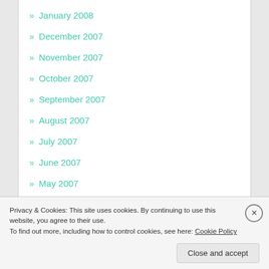» January 2008
» December 2007
» November 2007
» October 2007
» September 2007
» August 2007
» July 2007
» June 2007
» May 2007
» April 2007
» March 2007
Privacy & Cookies: This site uses cookies. By continuing to use this website, you agree to their use.
To find out more, including how to control cookies, see here: Cookie Policy
Close and accept